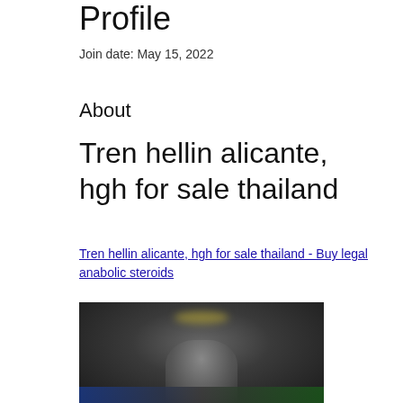Profile
Join date: May 15, 2022
About
Tren hellin alicante, hgh for sale thailand
Tren hellin alicante, hgh for sale thailand - Buy legal anabolic steroids
[Figure (photo): Blurred dark image, appears to show a figure or athlete in a dark setting with colorful bar at the bottom]